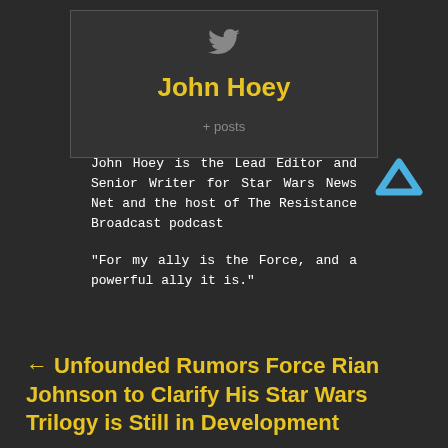[Figure (logo): Twitter bird icon in gray]
John Hoey
+ posts
John Hoey is the Lead Editor and Senior Writer for Star Wars News Net and the host of The Resistance Broadcast podcast
"For my ally is the Force, and a powerful ally it is."
[Figure (illustration): Blue upward chevron/arrow icon]
← Unfounded Rumors Force Rian Johnson to Clarify His Star Wars Trilogy is Still in Development